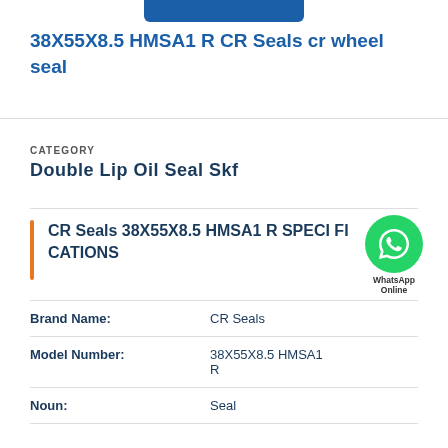38X55X8.5 HMSA1 R CR Seals cr wheel seal
CATEGORY
Double Lip Oil Seal Skf
CR Seals 38X55X8.5 HMSA1 R SPECIFICATIONS
| Attribute | Value |
| --- | --- |
| Brand Name: | CR Seals |
| Model Number: | 38X55X8.5 HMSA1 R |
| Noun: | Seal |